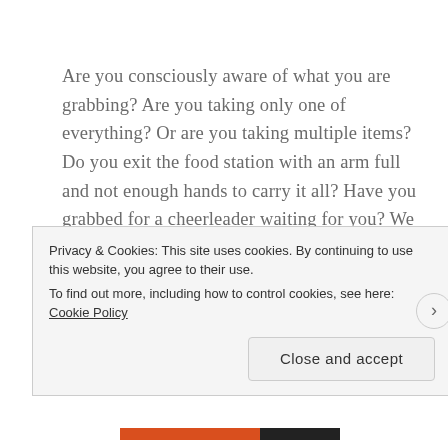Are you consciously aware of what you are grabbing? Are you taking only one of everything? Or are you taking multiple items? Do you exit the food station with an arm full and not enough hands to carry it all? Have you grabbed for a cheerleader waiting for you? We are being honest here, we all have done it over the course of our running careers.
Well after thinking about everything I've asked
Privacy & Cookies: This site uses cookies. By continuing to use this website, you agree to their use.
To find out more, including how to control cookies, see here: Cookie Policy
Close and accept